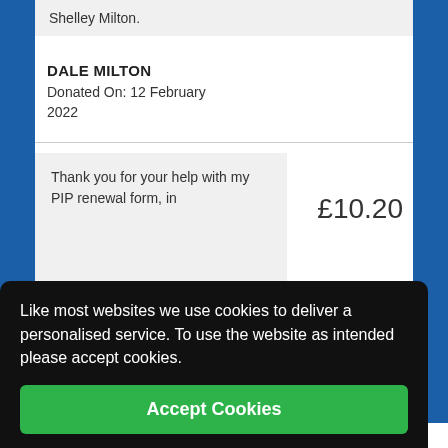Shelley Milton.
DALE MILTON
Donated On: 12 February 2022
Thank you for your help with my PIP renewal form, in
£10.20
Like most websites we use cookies to deliver a personalised service. To use the website as intended please accept cookies.
Accept Cookies
Donated On: 02 February